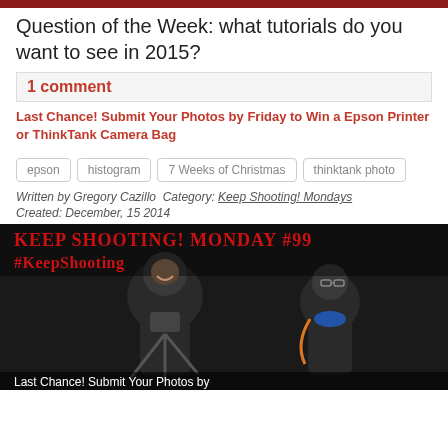[Figure (photo): Top red banner image strip]
Question of the Week: what tutorials do you want to see in 2015?
1 comment
Last Chance! Submit Your Photos by Friday to Win a Epson Printer or ThinkTank Camera Bag
epson
histogram
7 Weeks of Christmas
thinktank photo
Written by Gregory Cazillo Category: Keep Shooting! Mondays
Created: December, 15 2014
[Figure (photo): Keep Shooting! Monday #99 #KeepShooting - photo of two photographers with text overlay. Bottom text reads Last Chance! Submit Your Photos by...]